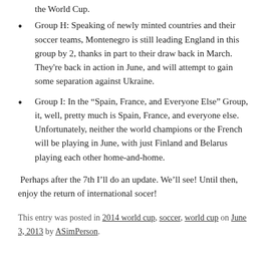the World Cup.
Group H: Speaking of newly minted countries and their soccer teams, Montenegro is still leading England in this group by 2, thanks in part to their draw back in March. They're back in action in June, and will attempt to gain some separation against Ukraine.
Group I: In the “Spain, France, and Everyone Else” Group, it, well, pretty much is Spain, France, and everyone else. Unfortunately, neither the world champions or the French will be playing in June, with just Finland and Belarus playing each other home-and-home.
Perhaps after the 7th I’ll do an update. We’ll see! Until then, enjoy the return of international socer!
This entry was posted in 2014 world cup, soccer, world cup on June 3, 2013 by ASimPerson.